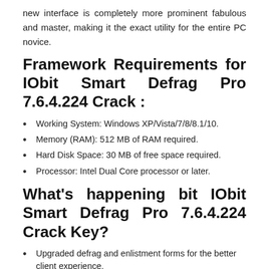new interface is completely more prominent fabulous and master, making it the exact utility for the entire PC novice.
Framework Requirements for IObit Smart Defrag Pro 7.6.4.224 Crack :
Working System: Windows XP/Vista/7/8/8.1/10.
Memory (RAM): 512 MB of RAM required.
Hard Disk Space: 30 MB of free space required.
Processor: Intel Dual Core processor or later.
What's happening bit IObit Smart Defrag Pro 7.6.4.224 Crack Key?
Upgraded defrag and enlistment forms for the better client experience.
Included help for Danish and Russian limitations.